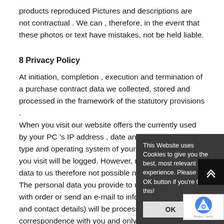products reproduced Pictures and descriptions are not contractual . We can , therefore, in the event that these photos or text have mistakes, not be held liable.
8 Privacy Policy
At initiation, completion , execution and termination of a purchase contract data we collected, stored and processed in the framework of the statutory provisions . When you visit our website offers the currently used by your PC 's IP address , date and time, browser type and operating system of your PC, and the pages you visit will be logged. However, relate to personal data to us therefore not possible nor intended. The personal data you provide to us, for example, with order or send an e-mail to inform (eg , your name and contact details) will be processed only for correspondence with you and only for the purposes for which you gi the have provided data. We share your information only to
[Figure (screenshot): Cookie consent popup overlay on top of the page text. Dark grey box with white text reading 'This Website uses Cookies to give you the best, most relevant experience. Please press OK button if you're Ok with this!' with an OK button below. Next to it is a black box with an upward arrow icon. Bottom right shows a reCAPTCHA badge.]